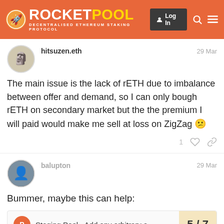ROCKETPOOL - DECENTRALISED ETHEREUM STAKING PROTOCOL
hitsuzen.eth
29 Mar
The main issue is the lack of rETH due to imbalance between offer and demand, so I can only bough rETH on secondary market but the the premium I will paid would make me sell at loss on ZigZag
balupton
29 Mar
Bummer, maybe this can help:
Staging Pool - Add any arbitrary a... 5/7